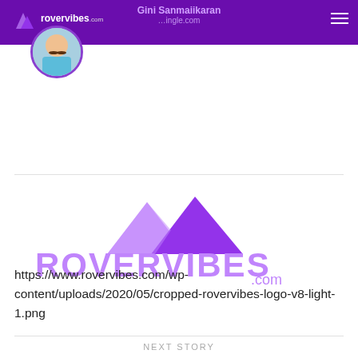rovervibes.com
[Figure (logo): RoverVibes logo — two purple mountain triangles above the text ROVERVIBES.com in light purple]
https://www.rovervibes.com/wp-content/uploads/2020/05/cropped-rovervibes-logo-v8-light-1.png
NEXT STORY